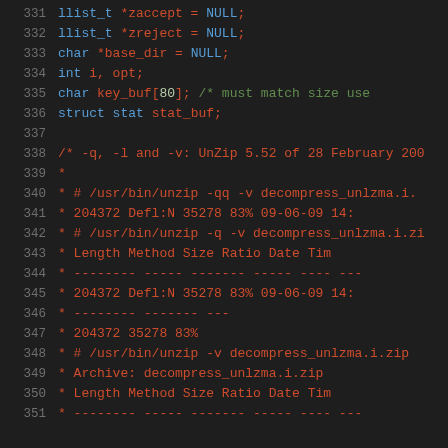Code listing lines 331–351 showing C variable declarations and block comment with unzip command output
[Figure (screenshot): Source code viewer showing lines 331-351 with syntax highlighting on dark background. Lines 331-336 show C variable declarations in blue/keyword colors. Lines 338-351 show a block comment (/* ... */) containing unzip command output examples in red.]